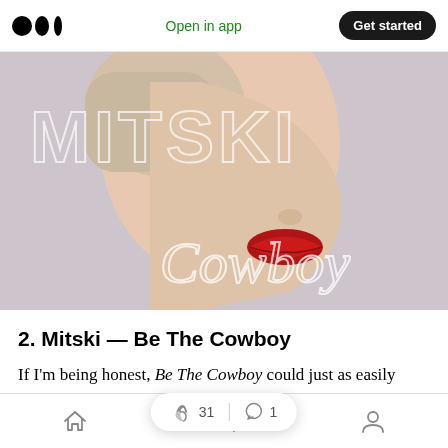Medium app header with logo, Open in app, Get started
[Figure (photo): Album cover for Mitski — Be The Cowboy. Close-up of a woman's face in profile with red lips against a light lavender/grey background. Large white serif text 'MITSKI' and cursive white text 'Cowboy' overlaid on the image.]
2. Mitski — Be The Cowboy
If I'm being honest, Be The Cowboy could just as easily share the n ... ith Lucy Dacus. Though completely different beasts, they're both
Bottom navigation bar with home, search, and profile icons